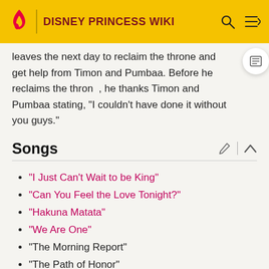DISNEY PRINCESS WIKI
leaves the next day to reclaim the throne and get help from Timon and Pumbaa. Before he reclaims the throne, he thanks Timon and Pumbaa stating, "I couldn't have done it without you guys."
Songs
"I Just Can't Wait to be King"
"Can You Feel the Love Tonight?"
"Hakuna Matata"
"We Are One"
"The Morning Report"
"The Path of Honor"
Gallery